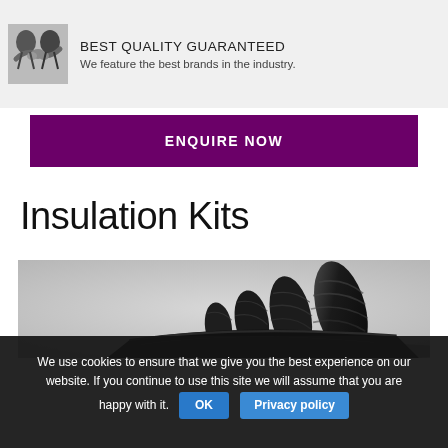[Figure (photo): Handshake photo representing partnership/quality guarantee]
BEST QUALITY GUARANTEED
We feature the best brands in the industry.
ENQUIRE NOW
Insulation Kits
[Figure (photo): Black rolled insulation kits product photo on white/grey background]
We use cookies to ensure that we give you the best experience on our website. If you continue to use this site we will assume that you are happy with it. OK Privacy policy